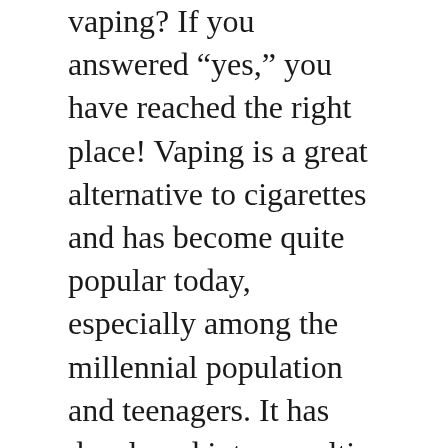vaping? If you answered "yes," you have reached the right place! Vaping is a great alternative to cigarettes and has become quite popular today, especially among the millennial population and teenagers. It has developed into a multi-million dollar industry worldwide. Before diving in and experimenting with … Read more